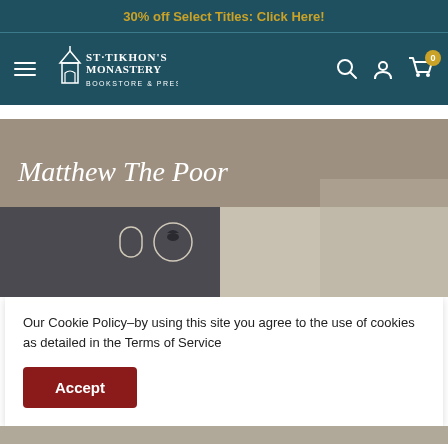30% off Select Titles: Click Here!
[Figure (logo): St. Tikhon's Monastery Bookstore & Press logo with navigation bar on dark teal background]
[Figure (photo): Hero banner with italic text 'Matthew The Poor' overlaid on a monastery building photo with taupe/grey upper half]
Our Cookie Policy–by using this site you agree to the use of cookies as detailed in the Terms of Service
Accept